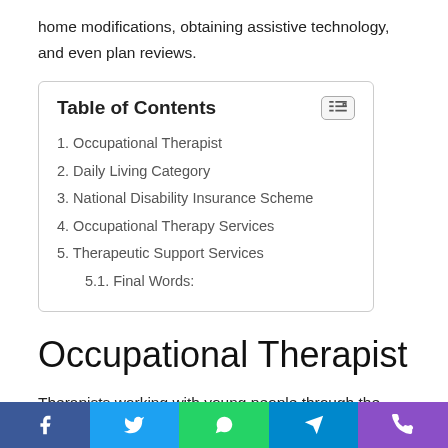home modifications, obtaining assistive technology, and even plan reviews.
1. Occupational Therapist
2. Daily Living Category
3. National Disability Insurance Scheme
4. Occupational Therapy Services
5. Therapeutic Support Services
5.1. Final Words:
Occupational Therapist
Therapists working with young people through the NDIS Therapy Services Sydney and provide highly personalised therapies. Through the NDIS, Occupational Therapists help